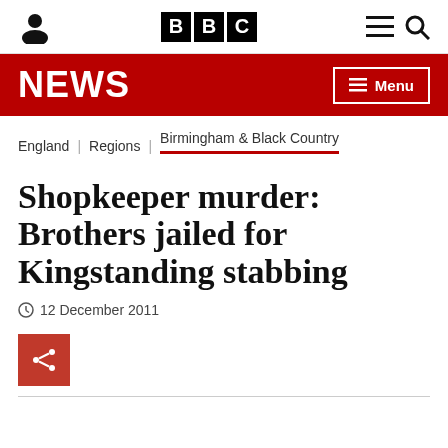BBC NEWS
England | Regions | Birmingham & Black Country
Shopkeeper murder: Brothers jailed for Kingstanding stabbing
12 December 2011